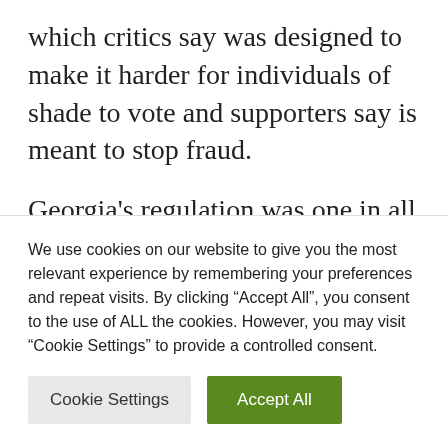which critics say was designed to make it harder for individuals of shade to vote and supporters say is meant to stop fraud.
Georgia's regulation was one in all almost three dozen in 2021 that curbed poll entry throughout 19 states, most of them managed by Republicans. That push carried into this 12 months, with legislators in not less than 27 states having launched, pre-filed, or carried
We use cookies on our website to give you the most relevant experience by remembering your preferences and repeat visits. By clicking "Accept All", you consent to the use of ALL the cookies. However, you may visit "Cookie Settings" to provide a controlled consent.